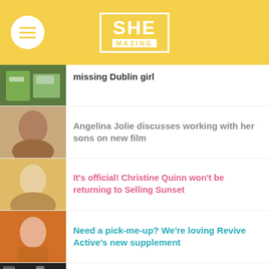SHE MAZING
missing Dublin girl
Angelina Jolie discusses working with her sons on new film
It's official! Christine Quinn won't be returning to Selling Sunset
Need a pick-me-up? We're loving Revive Active's new supplement
Ronan Keating shares adorable tribute to Storm on their 7th anniversary
Recipe: How to make delicious Northern Iris…